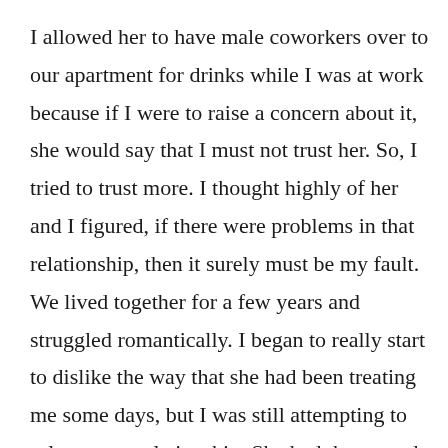I allowed her to have male coworkers over to our apartment for drinks while I was at work because if I were to raise a concern about it, she would say that I must not trust her. So, I tried to trust more. I thought highly of her and I figured, if there were problems in that relationship, then it surely must be my fault. We lived together for a few years and struggled romantically. I began to really start to dislike the way that she had been treating me some days, but I was still attempting to salvage our relationship. She had threatened to pack her bags and leave multiple times when criticized for her behavior. It was an emotionally manipulative tactic which only lost